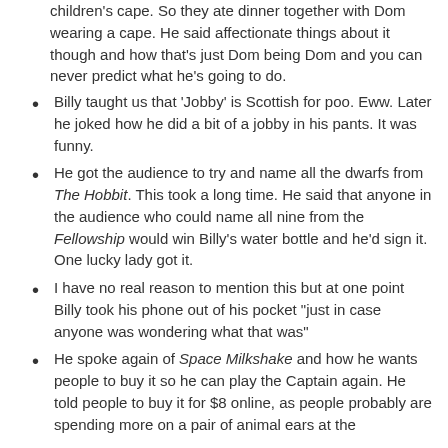children's cape. So they ate dinner together with Dom wearing a cape. He said affectionate things about it though and how that's just Dom being Dom and you can never predict what he's going to do.
Billy taught us that 'Jobby' is Scottish for poo. Eww. Later he joked how he did a bit of a jobby in his pants. It was funny.
He got the audience to try and name all the dwarfs from The Hobbit. This took a long time. He said that anyone in the audience who could name all nine from the Fellowship would win Billy's water bottle and he'd sign it. One lucky lady got it.
I have no real reason to mention this but at one point Billy took his phone out of his pocket "just in case anyone was wondering what that was"
He spoke again of Space Milkshake and how he wants people to buy it so he can play the Captain again. He told people to buy it for $8 online, as people probably are spending more on a pair of animal ears at the